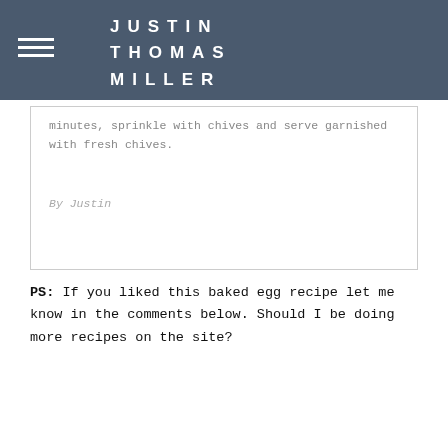JUSTIN THOMAS MILLER
minutes, sprinkle with chives and serve garnished with fresh chives.
By Justin
PS: If you liked this baked egg recipe let me know in the comments below. Should I be doing more recipes on the site?